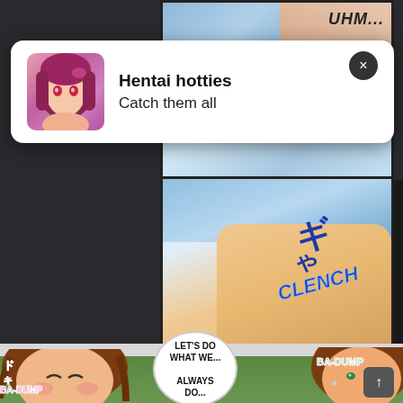[Figure (illustration): Manga/comic page screenshot showing two panels of anime-style illustration. Top portion shows a blue-tinted panel with 'OHM...' text. A notification overlay appears with an anime girl avatar, bold title 'Hentai hotties' and subtitle 'Catch them all'. A second panel shows a 'CLENCH' text in blue with Japanese characters. Bottom portion shows manga characters with 'BA-DUMP' sound effects and a speech bubble reading 'LET'S DO WHAT WE... ALWAYS DO...']